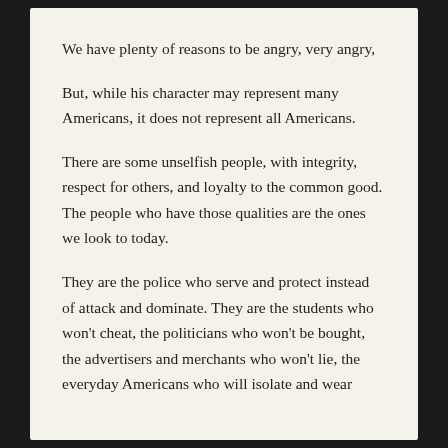We have plenty of reasons to be angry, very angry,
But, while his character may represent many Americans, it does not represent all Americans.
There are some unselfish people, with integrity, respect for others, and loyalty to the common good. The people who have those qualities are the ones we look to today.
They are the police who serve and protect instead of attack and dominate. They are the students who won't cheat, the politicians who won't be bought, the advertisers and merchants who won't lie, the everyday Americans who will isolate and wear